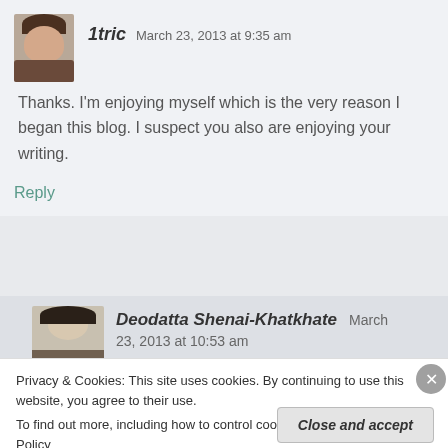1tric   March 23, 2013 at 9:35 am
Thanks. I'm enjoying myself which is the very reason I began this blog. I suspect you also are enjoying your writing.
Reply
Deodatta Shenai-Khatkhate   March 23, 2013 at 10:53 am
Privacy & Cookies: This site uses cookies. By continuing to use this website, you agree to their use.
To find out more, including how to control cookies, see here: Cookie Policy
Close and accept